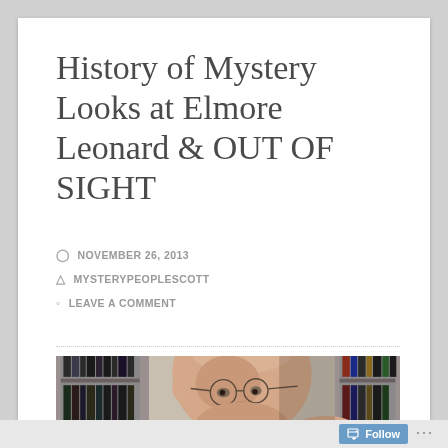History of Mystery Looks at Elmore Leonard & OUT OF SIGHT
NOVEMBER 26, 2013
MYSTERYPEOPLESCOTT
LEAVE A COMMENT
[Figure (photo): Close-up photograph of an elderly man with glasses (Elmore Leonard), bookshelves visible in the background]
Follow ...